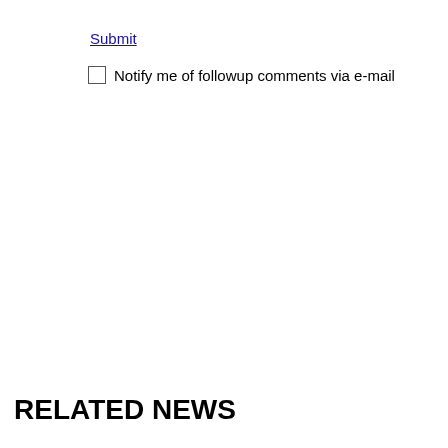Submit
Notify me of followup comments via e-mail
RELATED NEWS